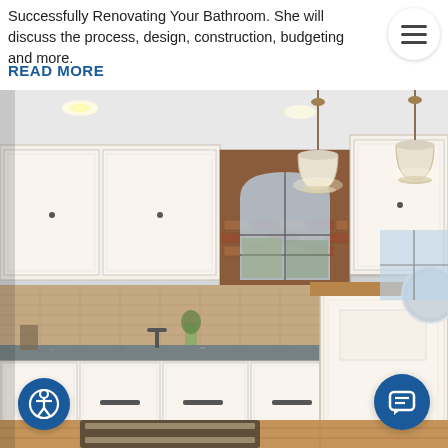Successfully Renovating Your Bathroom. She will discuss the process, design, construction, budgeting and more.
READ MORE
[Figure (photo): Interior kitchen photo showing white cabinetry with dark hardware, granite countertops, arched brick-framed window, pendant lighting, stainless refrigerator, and wood-topped island with hardwood floors.]